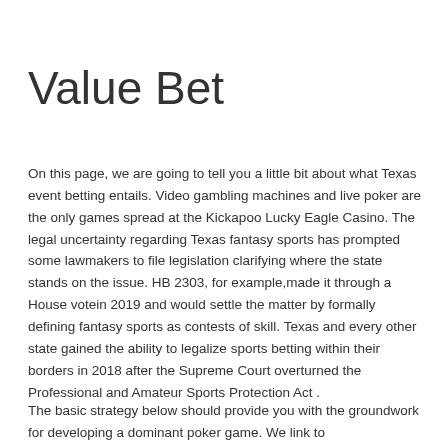Value Bet
On this page, we are going to tell you a little bit about what Texas event betting entails. Video gambling machines and live poker are the only games spread at the Kickapoo Lucky Eagle Casino. The legal uncertainty regarding Texas fantasy sports has prompted some lawmakers to file legislation clarifying where the state stands on the issue. HB 2303, for example,made it through a House votein 2019 and would settle the matter by formally defining fantasy sports as contests of skill. Texas and every other state gained the ability to legalize sports betting within their borders in 2018 after the Supreme Court overturned the Professional and Amateur Sports Protection Act .
The basic strategy below should provide you with the groundwork for developing a dominant poker game. We link to